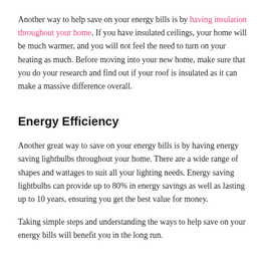Another way to help save on your energy bills is by having insulation throughout your home. If you have insulated ceilings, your home will be much warmer, and you will not feel the need to turn on your heating as much. Before moving into your new home, make sure that you do your research and find out if your roof is insulated as it can make a massive difference overall.
Energy Efficiency
Another great way to save on your energy bills is by having energy saving lightbulbs throughout your home. There are a wide range of shapes and wattages to suit all your lighting needs. Energy saving lightbulbs can provide up to 80% in energy savings as well as lasting up to 10 years, ensuring you get the best value for money.
Taking simple steps and understanding the ways to help save on your energy bills will benefit you in the long run.